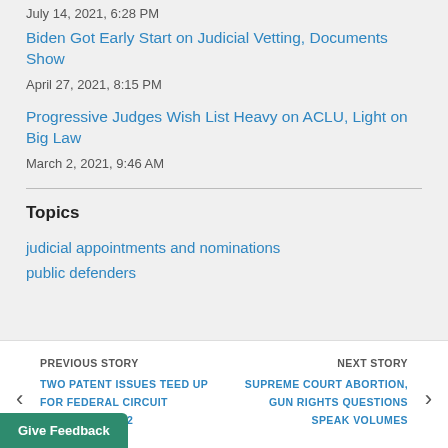July 14, 2021, 6:28 PM
Biden Got Early Start on Judicial Vetting, Documents Show
April 27, 2021, 8:15 PM
Progressive Judges Wish List Heavy on ACLU, Light on Big Law
March 2, 2021, 9:46 AM
Topics
judicial appointments and nominations
public defenders
PREVIOUS STORY
TWO PATENT ISSUES TEED UP FOR FEDERAL CIRCUIT RULINGS IN 2022
NEXT STORY
SUPREME COURT ABORTION, GUN RIGHTS QUESTIONS SPEAK VOLUMES